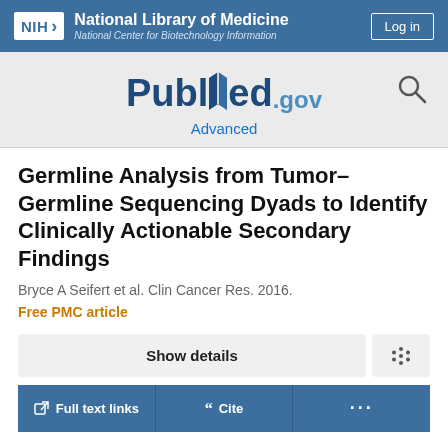NIH National Library of Medicine National Center for Biotechnology Information
[Figure (logo): PubMed.gov logo with search icon and Advanced link]
Germline Analysis from Tumor-Germline Sequencing Dyads to Identify Clinically Actionable Secondary Findings
Bryce A Seifert et al. Clin Cancer Res. 2016.
Free PMC article
Show details
Full text links
Cite